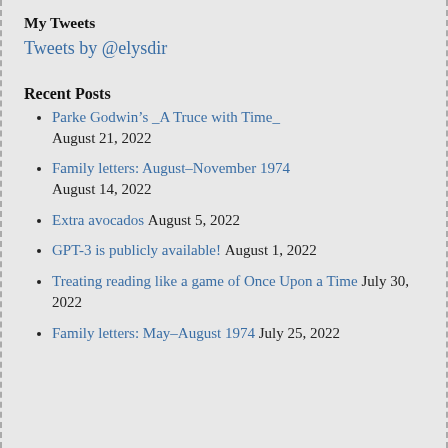My Tweets
Tweets by @elysdir
Recent Posts
Parke Godwin’s _A Truce with Time_ August 21, 2022
Family letters: August–November 1974 August 14, 2022
Extra avocados August 5, 2022
GPT-3 is publicly available! August 1, 2022
Treating reading like a game of Once Upon a Time July 30, 2022
Family letters: May–August 1974 July 25, 2022